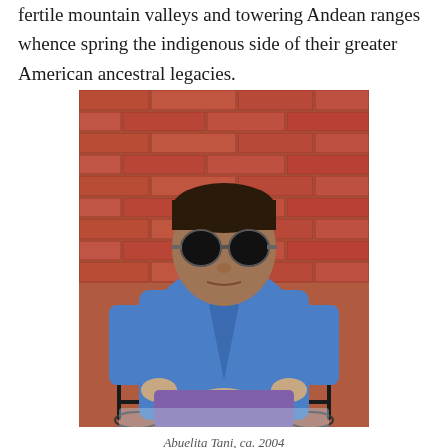fertile mountain valleys and towering Andean ranges whence spring the indigenous side of their greater American ancestral legacies.
[Figure (photo): An elderly person wearing dark round sunglasses and a blue long-sleeve blouse with a tie, seated in a wheelchair in front of a red brick wall.]
Abuelita Tani, ca. 2004